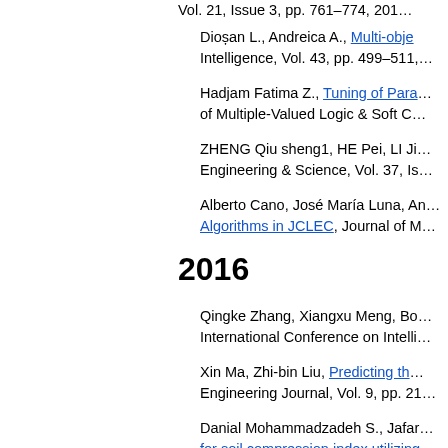Vol. 21, Issue 3, pp. 761-774, 201...
Dioșan L., Andreica A., Multi-obje... Intelligence, Vol. 43, pp. 499–511,...
Hadjam Fatima Z., Tuning of Para... of Multiple-Valued Logic & Soft C...
ZHENG Qiu sheng1, HE Pei, LI Ji... Engineering & Science, Vol. 37, Is...
Alberto Cano, José María Luna, An... Algorithms in JCLEC, Journal of M...
2016
Qingke Zhang, Xiangxu Meng, Bo... International Conference on Intelli...
Xin Ma, Zhi-bin Liu, Predicting th... Engineering Journal, Vol. 9, pp. 21...
Danial Mohammadzadeh S., Jafar... for soil compression index utilizing... pp. 262, 2016.
Kulluk Sinem, Ozbakir Lale, Tapk... Based Systems MEPAR-miner and...